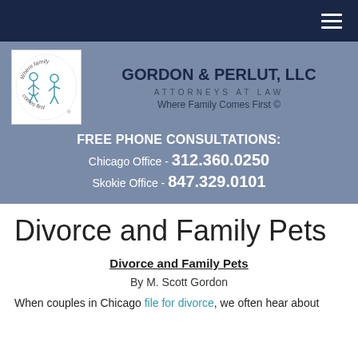Navigation bar with hamburger menu
[Figure (logo): Gordon & Perlut LLC logo — cartoon stick figures of family members with text 'Where family comes first']
GORDON & PERLUT, LLC
ATTORNEYS AT LAW
Where Family Comes First ©
FREE PHONE CONSULTATIONS:
Chicago Office - 312.360.0250
Skokie Office - 847.329.0101
Divorce and Family Pets
Divorce and Family Pets
By M. Scott Gordon
When couples in Chicago file for divorce, we often hear about